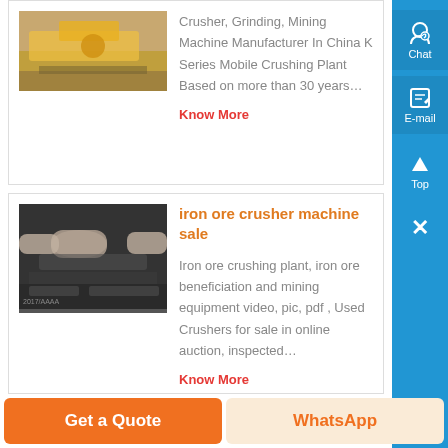[Figure (photo): Partial view of yellow construction/crushing machinery]
Crusher, Grinding, Mining Machine Manufacturer In China K Series Mobile Crushing Plant Based on more than 30 years…
Know More
iron ore crusher machine sale
[Figure (photo): Industrial pipes and machinery in dark gray tones for iron ore crushing plant]
Iron ore crushing plant, iron ore beneficiation and mining equipment video, pic, pdf , Used Crushers for sale in online auction, inspected…
Know More
Get a Quote
WhatsApp